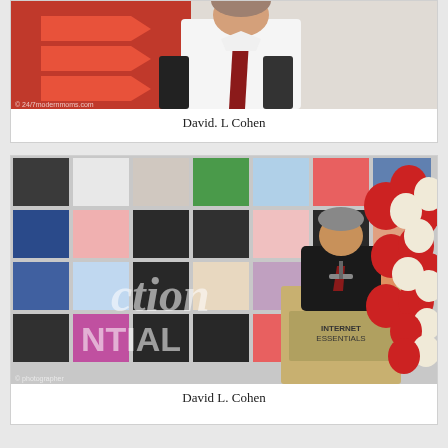[Figure (photo): Photo of David L Cohen speaking at a podium, with orange arrow banners in the background]
David. L Cohen
[Figure (photo): Photo of David L. Cohen speaking at a podium labeled 'Internet Essentials', with a grid of student photos in the background and a red and white balloon arch to the right]
David L. Cohen